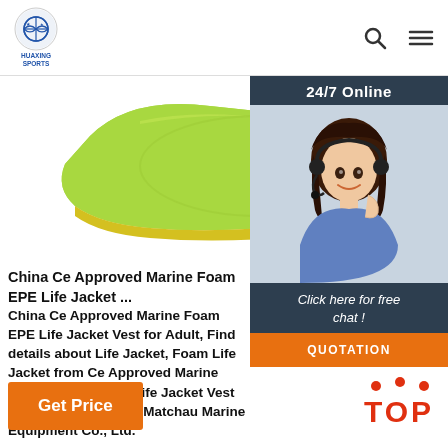HUAXING SPORTS
[Figure (photo): Green foam life jacket vest product photo on white background]
[Figure (photo): 24/7 Online customer service representative woman with headset smiling]
Click here for free chat !
QUOTATION
China Ce Approved Marine Foam EPE Life Jacket ...
China Ce Approved Marine Foam EPE Life Jacket Vest for Adult, Find details about Life Jacket, Foam Life Jacket from Ce Approved Marine Foam EPE Material Life Jacket Vest for Adult - Zhenjiang Matchau Marine Equipment Co., Ltd.
Get Price
TOP